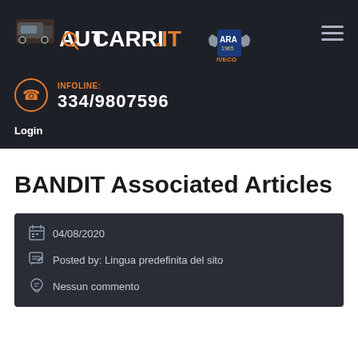[Figure (logo): Autocarri.it logo with truck icon and magnifying glass, orange and white text, on dark background. ARA 1965 IVECO badge shown to the right.]
INFOLINE: 334/9807596
Login
BANDIT Associated Articles
04/08/2020
Posted by: Lingua predefinita del sito
Nessun commento